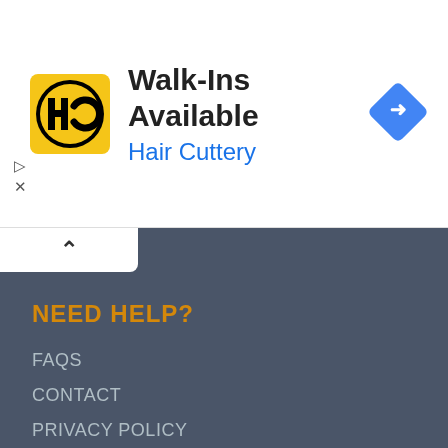[Figure (logo): Hair Cuttery logo — yellow square with black HC monogram]
Walk-Ins Available
Hair Cuttery
[Figure (other): Blue diamond navigation/directions icon with right-turn arrow]
NEED HELP?
FAQS
CONTACT
PRIVACY POLICY
RETURN POLICY
SITEMAP
LOCATION
Barhi Newada,
Varanasi, U.P.
India